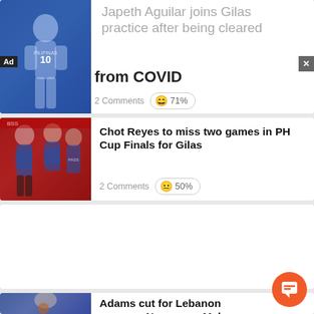[Figure (photo): Basketball player in blue Gilas jersey (partially visible, top article card, partially cut off at top)]
Japeth Aguilar joins Gilas practice after being cleared from COVID
2 Comments  😄 71%
[Figure (photo): Chot Reyes and coaching staff in blue jerseys on sideline]
Chot Reyes to miss two games in PH Cup Finals for Gilas
2 Comments  😐 50%
[Figure (photo): Jayson Castro in gray jersey on basketball court]
Jayson Castro, TNT make sure to take Game 4 for underfire Chot Reyes
1 Comment  😄 50%
[Figure (photo): Basketball player holding ball (partially cut off at bottom)]
Adams cut for Lebanon game as Newsome, Melango...